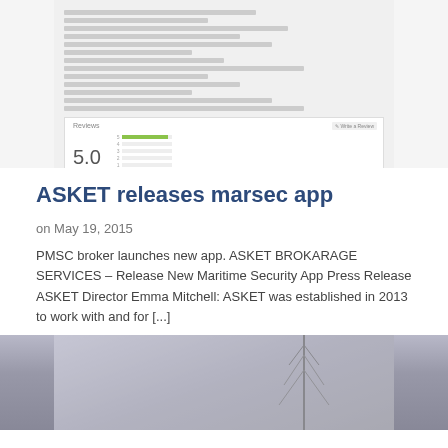[Figure (screenshot): App store listing screenshot showing app details with a 5.0 star rating review section. The listing shows several text lines for app features and a reviews section with a 5.0 score, star rating, and a bar chart of individual star ratings.]
ASKET releases marsec app
on May 19, 2015
PMSC broker launches new app. ASKET BROKARAGE SERVICES – Release New Maritime Security App Press Release ASKET Director Emma Mitchell: ASKET was established in 2013 to work with and for [...]
[Figure (photo): Partial view of a photo showing a foggy/hazy seascape or harbour scene with a tall antenna or communication tower mast visible on the right side.]